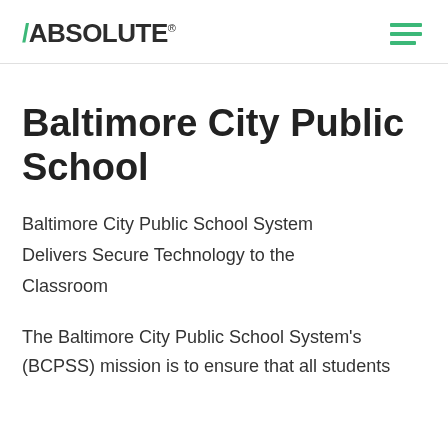ABSOLUTE
Baltimore City Public School
Baltimore City Public School System Delivers Secure Technology to the Classroom
The Baltimore City Public School System's (BCPSS) mission is to ensure that all students